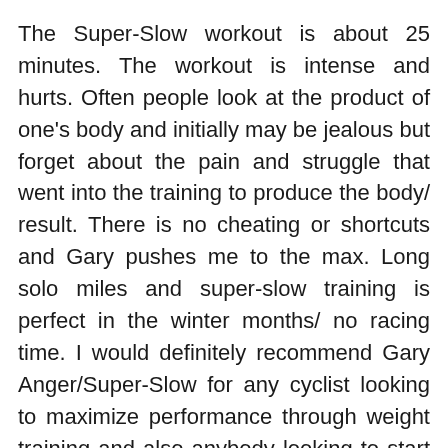The Super-Slow workout is about 25 minutes. The workout is intense and hurts. Often people look at the product of one's body and initially may be jealous but forget about the pain and struggle that went into the training to produce the body/ result. There is no cheating or shortcuts and Gary pushes me to the max. Long solo miles and super-slow training is perfect in the winter months/ no racing time. I would definitely recommend Gary Anger/Super-Slow for any cyclist looking to maximize performance through weight training and also anybody looking to start up with a personal trainer.